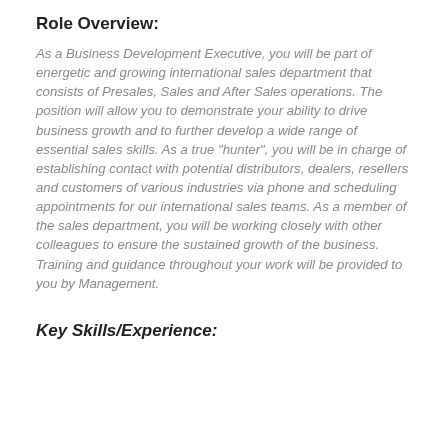Role Overview:
As a Business Development Executive, you will be part of energetic and growing international sales department that consists of Presales, Sales and After Sales operations. The position will allow you to demonstrate your ability to drive business growth and to further develop a wide range of essential sales skills. As a true "hunter", you will be in charge of establishing contact with potential distributors, dealers, resellers and customers of various industries via phone and scheduling appointments for our international sales teams. As a member of the sales department, you will be working closely with other colleagues to ensure the sustained growth of the business. Training and guidance throughout your work will be provided to you by Management.
Key Skills/Experience: